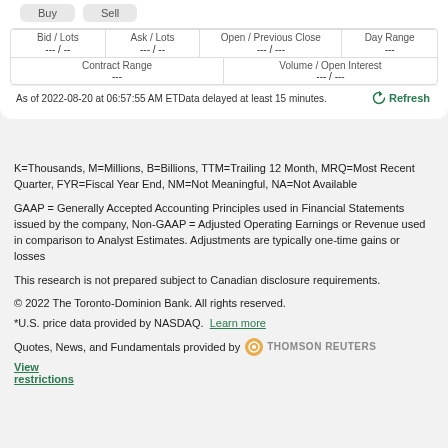| Bid / Lots | Ask / Lots | Open / Previous Close | Day Range |
| --- | --- | --- | --- |
| --- / -- | --- / -- | --- / --- | --- |
| Contract Range | Volume / Open Interest |
| --- | --- |
| --- | --- / --- |
As of 2022-08-20 at 06:57:55 AM ETData delayed at least 15 minutes.
K=Thousands, M=Millions, B=Billions, TTM=Trailing 12 Month, MRQ=Most Recent Quarter, FYR=Fiscal Year End, NM=Not Meaningful, NA=Not Available
GAAP = Generally Accepted Accounting Principles used in Financial Statements issued by the company, Non-GAAP = Adjusted Operating Earnings or Revenue used in comparison to Analyst Estimates. Adjustments are typically one-time gains or losses
This research is not prepared subject to Canadian disclosure requirements.
© 2022 The Toronto-Dominion Bank. All rights reserved.
*U.S. price data provided by NASDAQ.  Learn more
Quotes, News, and Fundamentals provided by  THOMSON REUTERS  View restrictions